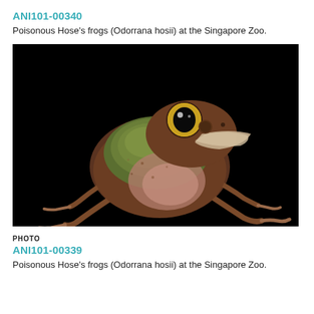ANI101-00340
Poisonous Hose's frogs (Odorrana hosii) at the Singapore Zoo.
[Figure (photo): Close-up photo of a Hose's frog (Odorrana hosii) against a black background. The frog has large prominent eyes with gold rims and black pupils, olive-green back, and brown/pinkish sides and legs. It is in a sitting/jumping pose facing slightly right.]
PHOTO
ANI101-00339
Poisonous Hose's frogs (Odorrana hosii) at the Singapore Zoo.